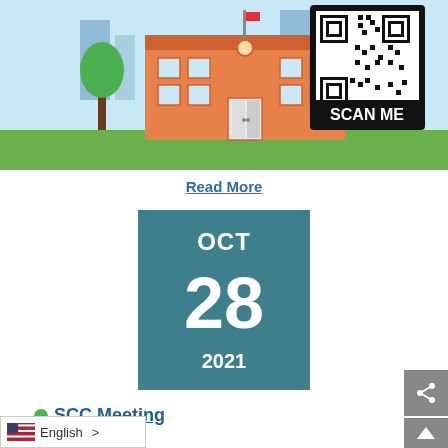[Figure (illustration): Illustration of a school building with trees and a QR code with 'SCAN ME' label]
Read More
[Figure (infographic): Calendar date block showing OCT 28 2021 on a teal background]
SCC Meeting
English >